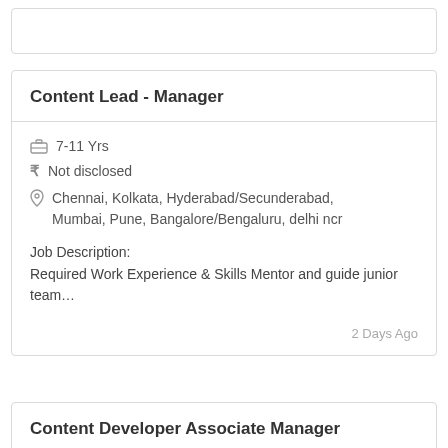Content Lead - Manager
7-11 Yrs
Not disclosed
Chennai, Kolkata, Hyderabad/Secunderabad, Mumbai, Pune, Bangalore/Bengaluru, delhi ncr
Job Description:
Required Work Experience & Skills Mentor and guide junior team…
2 Days Ago
Content Developer Associate Manager